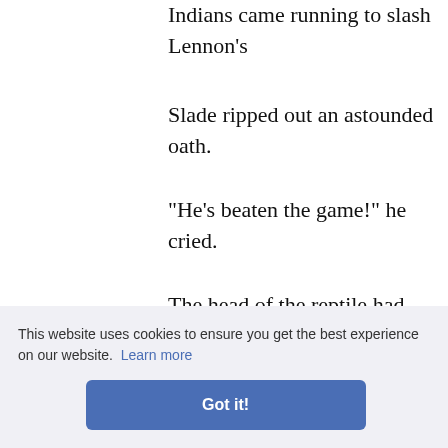Indians came running to slash Lennon's
Slade ripped out an astounded oath.
"He's beaten the game!" he cried.
The head of the reptile had been crushed
CHAPTER XVIII
THE ATTACK
been ove need to b nnon had
water to t ought bes weakness. When jerked to his foot by th
This website uses cookies to ensure you get the best experience on our website. Learn more Got it!